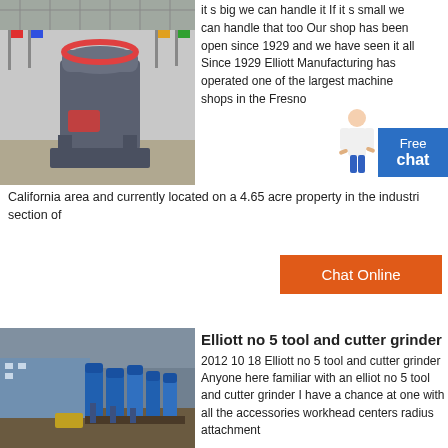[Figure (photo): Large industrial grinding mill machine in a factory/warehouse setting with flags in the background]
it s big we can handle it If it s small we can handle that too Our shop has been open since 1929 and we have seen it all Since 1929 Elliott Manufacturing has operated one of the largest machine shops in the Fresno California area and currently located on a 4.65 acre property in the industri section of
[Figure (infographic): Free chat widget button in blue]
[Figure (other): Chat Online orange button]
[Figure (photo): Aerial view of an industrial facility with blue silos and machinery]
Elliott no 5 tool and cutter grinder
2012 10 18 Elliott no 5 tool and cutter grinder Anyone here familiar with an elliot no 5 tool and cutter grinder I have a chance at one with all the accessories workhead centers radius attachment